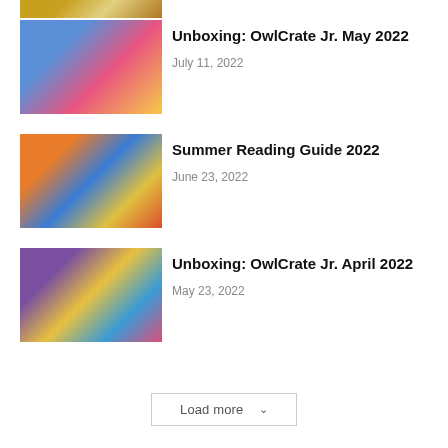[Figure (photo): Partial thumbnail image at top, cropped, showing coins/gold colored items]
[Figure (photo): Thumbnail for OwlCrate Jr. May 2022 unboxing, colorful books and products]
Unboxing: OwlCrate Jr. May 2022
July 11, 2022
[Figure (photo): Thumbnail for Summer Reading Guide 2022, colorful book covers including Emma Straub]
Summer Reading Guide 2022
June 23, 2022
[Figure (photo): Thumbnail for OwlCrate Jr. April 2022 unboxing, colorful book and merchandise spread]
Unboxing: OwlCrate Jr. April 2022
May 23, 2022
Load more